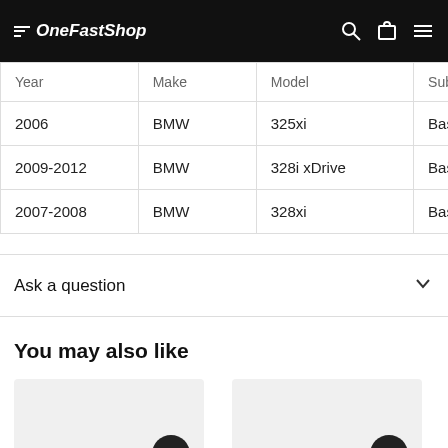OneFastShop
| Year | Make | Model | Subt |
| --- | --- | --- | --- |
| 2006 | BMW | 325xi | Base |
| 2009-2012 | BMW | 328i xDrive | Base |
| 2007-2008 | BMW | 328xi | Base |
Ask a question
You may also like